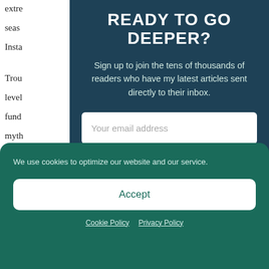extre... seas... Insta... Trou... level... fund... myth... profe... rare... com...
READY TO GO DEEPER?
Sign up to join the tens of thousands of readers who have my latest articles sent directly to their inbox.
Your email address
Subscribe
We use cookies to optimize our website and our service.
Accept
Cookie Policy   Privacy Policy